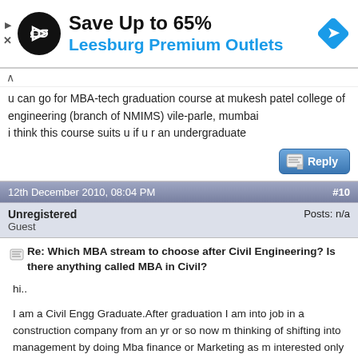[Figure (infographic): Advertisement banner: circular black logo with arrow symbol, text 'Save Up to 65% Leesburg Premium Outlets', blue diamond navigation icon, small play and close icons on left]
u can go for MBA-tech graduation course at mukesh patel college of engineering (branch of NMIMS) vile-parle, mumbai
i think this course suits u if u r an undergraduate
Reply
12th December 2010, 08:04 PM   #10
Unregistered
Guest
Posts: n/a
Re: Which MBA stream to choose after Civil Engineering? Is there anything called MBA in Civil?
hi..

I am a Civil Engg Graduate.After graduation I am into job in a construction company from an yr or so now m thinking of shifting into management by doing Mba finance or Marketing as m interested only in management.so how is the scope..?
Reply